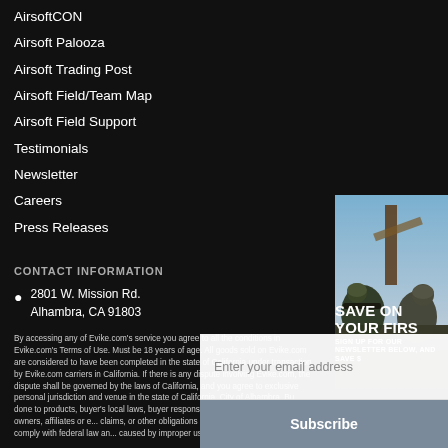AirsoftCON
Airsoft Palooza
Airsoft Trading Post
Airsoft Field/Team Map
Airsoft Field Support
Testimonials
Newsletter
Careers
Press Releases
CONTACT INFORMATION
2801 W. Mission Rd.
Alhambra, CA 91803
[Figure (photo): Two soldiers in military/airsoft gear with rifles and helmets, outdoor scene with wooden structure and sky in background]
SAVE ON YOUR FIRS
SIGN UP FOR OUR NEWSLETTER BELOW, AND SAVE $
Enter your email address
Subscribe
By accessing any of Evike.com's service you agree to all the conditions in Evike.com's Terms of Use. Must be 18 years of age. All goods sold on Evike.com are considered to have been completed in the state of California under transaction by Evike.com carriers in California. If there is any dispute involving Evike.com, the dispute shall be governed by the laws of California, and you agree to exclusive personal jurisdiction and venue in the state of California, City of Alhambra. Buyer's local laws, buyer's local duties done to products, buyer's local laws, buyer responsibilities, and Evike.com Inc., its owners, affiliates or employees from claims, or other obligations caused by you. All items require an orange tip to comply with federal law and Evike.com is not responsible caused by improper usage, user errors, or...